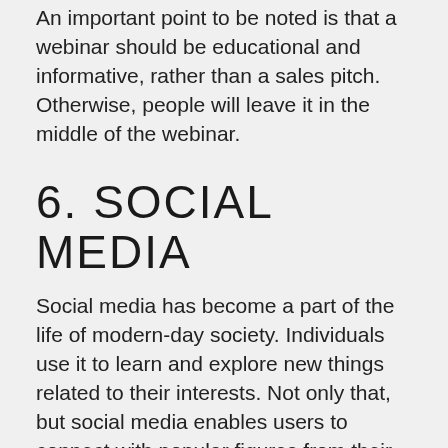An important point to be noted is that a webinar should be educational and informative, rather than a sales pitch. Otherwise, people will leave it in the middle of the webinar.
6. SOCIAL MEDIA
Social media has become a part of the life of modern-day society. Individuals use it to learn and explore new things related to their interests. Not only that, but social media enables users to connect with popular figures from their chosen fields of interest from all over the world.
Generating leads through social media includes searching for relevant accounts...